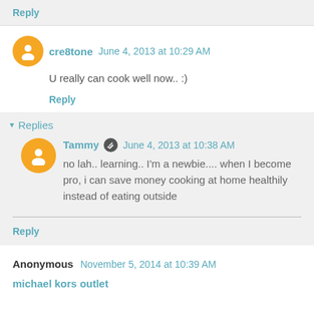Reply
cre8tone  June 4, 2013 at 10:29 AM
U really can cook well now.. :)
Reply
▾ Replies
Tammy  June 4, 2013 at 10:38 AM
no lah.. learning.. I'm a newbie.... when I become pro, i can save money cooking at home healthily instead of eating outside
Reply
Anonymous  November 5, 2014 at 10:39 AM
michael kors outlet